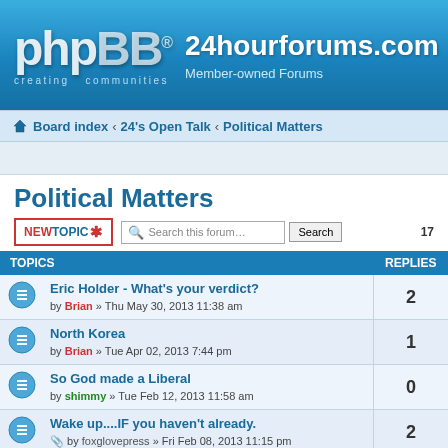[Figure (logo): phpBB logo with 'creating communities' tagline and 24hourforums.com site header]
Board index ‹ 24's Open Talk ‹ Political Matters
Political Matters
| TOPICS | REPLIES |
| --- | --- |
| Eric Holder - What's your verdict? | by Brian » Thu May 30, 2013 11:38 am | 2 |
| North Korea | by Brian » Tue Apr 02, 2013 7:44 pm | 1 |
| So God made a Liberal | by shimmy » Tue Feb 12, 2013 11:58 am | 0 |
| Wake up....IF you haven't already. | by foxglovepress » Fri Feb 08, 2013 11:15 pm | 2 |
| Presisential Debates | by muddawber » Sat Feb 09, 2013 9:01 pm | 1 |